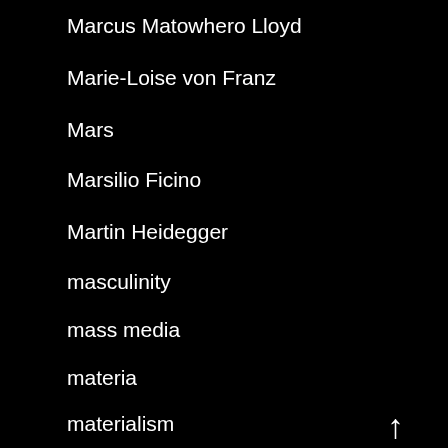Marcus Matowhero Lloyd
Marie-Loise von Franz
Mars
Marsilio Ficino
Martin Heidegger
masculinity
mass media
materia
materialism
Mathers
matter